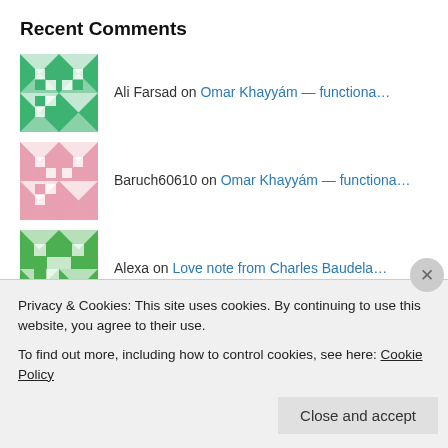Recent Comments
Ali Farsad on Omar Khayyám — functiona…
Baruch60610 on Omar Khayyám — functiona…
Alexa on Love note from Charles Baudela…
cdkeimling on Rumble Over the Rubaiyat
hilalimuhammad on Rumble Over the Rubaiyat
Privacy & Cookies: This site uses cookies. By continuing to use this website, you agree to their use.
To find out more, including how to control cookies, see here: Cookie Policy
Close and accept